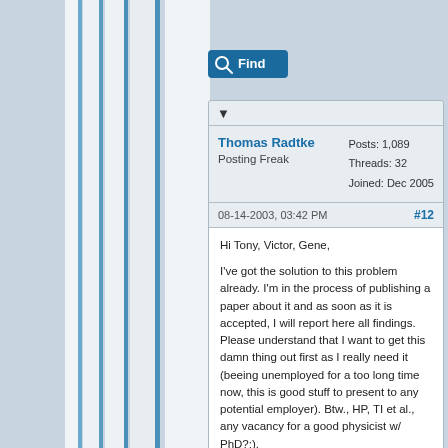[Figure (illustration): Decorative vertical blue and white striped lines on the left side of the page]
[Figure (other): Find button with magnifying glass icon, blue background]
▼
Thomas Radtke
Posting Freak
Posts: 1,089
Threads: 32
Joined: Dec 2005
08-14-2003, 03:42 PM
#12
Hi Tony, Victor, Gene,

I've got the solution to this problem already. I'm in the process of publishing a paper about it and as soon as it is accepted, I will report here all findings. Please understand that I want to get this damn thing out first as I really need it (beeing unemployed for a too long time now, this is good stuff to present to any potential employer). Btw., HP, TI et al., any vacancy for a good physicist w/ PhD?:).

Thomas